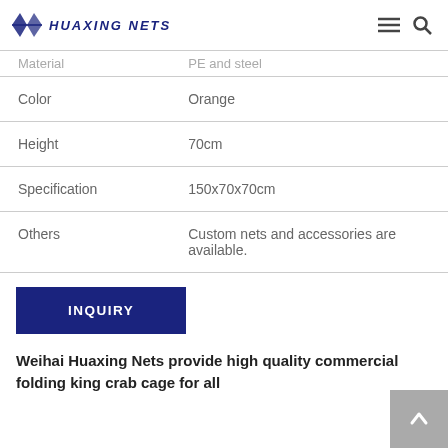HUAXING NETS
| Material | PE and steel |
| Color | Orange |
| Height | 70cm |
| Specification | 150x70x70cm |
| Others | Custom nets and accessories are available. |
INQUIRY
Weihai Huaxing Nets provide high quality commercial folding king crab cage for all